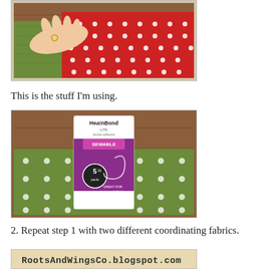[Figure (photo): A hand pressing down on green and red polka dot fabrics laid on a wooden surface, showing fabric preparation step.]
This is the stuff I'm using.
[Figure (photo): A package of HeatnBond Lite SEWABLE fusible adhesive web (5-1/4 yards) lying on top of green polka dot fabric on a wooden surface. The package is white and purple and mentions it is great for lightweight fabrics, machine appliques, and quilting.]
2. Repeat step 1 with two different coordinating fabrics.
[Figure (photo): A handwritten sign or watermark reading 'RootsAndWingsCo.blogspot.com']